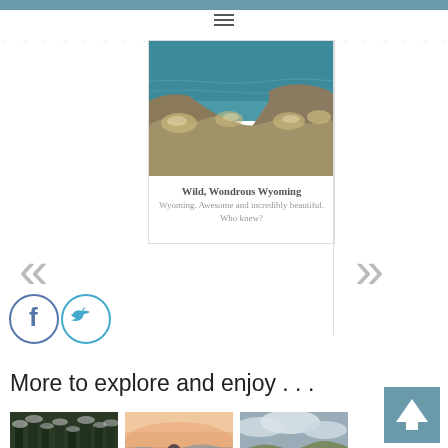[Figure (photo): Navigation hamburger menu icon (three horizontal lines)]
[Figure (photo): Card with photo of Wyoming landscape showing teal water and scrubby hillside vegetation]
Wild, Wondrous Wyoming
Wyoming. Awesome and incredibly beautiful. Who knew?
[Figure (other): Double left chevron navigation arrow (previous)]
[Figure (other): Double right chevron navigation arrow (next)]
[Figure (other): Facebook circle icon]
[Figure (other): Twitter circle icon]
More to explore and enjoy . . .
[Figure (photo): Thumbnail photo of dark forest trees]
[Figure (photo): Thumbnail photo of misty pink sunset landscape with foggy hills and lamp posts]
[Figure (photo): Thumbnail photo of horses grazing in green field with cloudy sky hills]
[Figure (other): Scroll-to-top button with upward arrow on teal background]